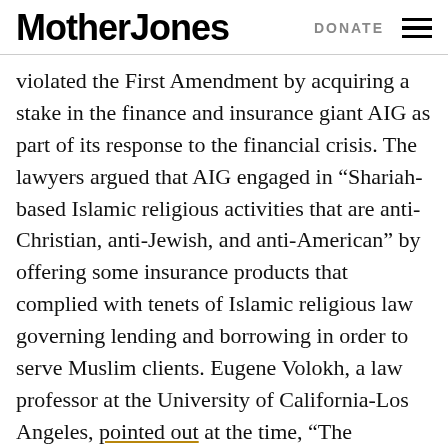Mother Jones | DONATE
violated the First Amendment by acquiring a stake in the finance and insurance giant AIG as part of its response to the financial crisis. The lawyers argued that AIG engaged in “Shariah-based Islamic religious activities that are anti-Christian, anti-Jewish, and anti-American” by offering some insurance products that complied with tenets of Islamic religious law governing lending and borrowing in order to serve Muslim clients. Eugene Volokh, a law professor at the University of California-Los Angeles, pointed out at the time, “The government no more cares about advancing Shariah through the AIG bailout than my local Ralphs supermarket cares about advancing kosher